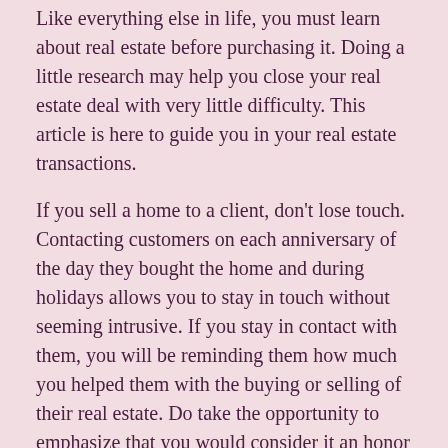Like everything else in life, you must learn about real estate before purchasing it. Doing a little research may help you close your real estate deal with very little difficulty. This article is here to guide you in your real estate transactions.
If you sell a home to a client, don’t lose touch. Contacting customers on each anniversary of the day they bought the home and during holidays allows you to stay in touch without seeming intrusive. If you stay in contact with them, you will be reminding them how much you helped them with the buying or selling of their real estate. Do take the opportunity to emphasize that you would consider it an honor if they would pass along your details to any of their friends who may be in need of your services.
Try and be moderate in your negotiations in regards to real estate. Many times people are too aggressive because they are trying to get the best price, and they end up losing out entirely. Firmly establish the basic deal you will accept, but let professionals take care of the details. Your lawyer and the Realtor or experienced in these things, and will probably negotiate a better deal than you could.
If you are uncertain about your financial future, you should be careful when considering purchasing a house. Putting your signature on the